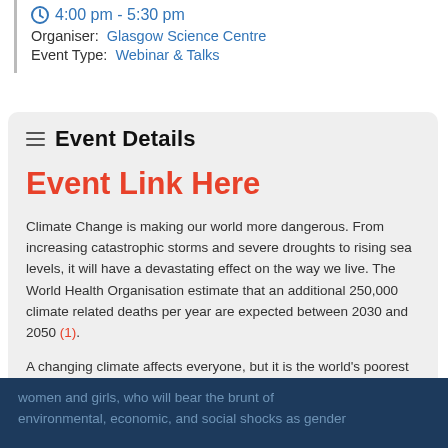4:00 pm - 5:30 pm
Organiser: Glasgow Science Centre
Event Type: Webinar & Talks
Event Details
Event Link Here
Climate Change is making our world more dangerous. From increasing catastrophic storms and severe droughts to rising sea levels, it will have a devastating effect on the way we live. The World Health Organisation estimate that an additional 250,000 climate related deaths per year are expected between 2030 and 2050 (1).
A changing climate affects everyone, but it is the world's poorest and those in vulnerable situations, especially women and girls, who will bear the brunt of environmental, economic, and social shocks as gender